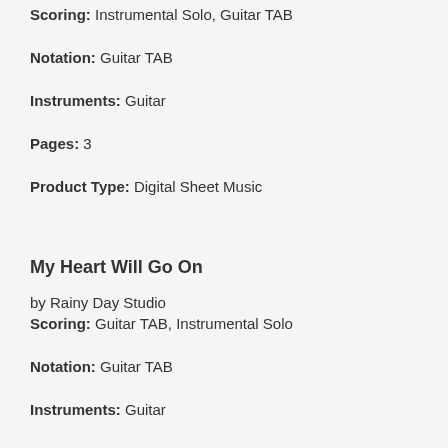Scoring: Instrumental Solo, Guitar TAB
Notation: Guitar TAB
Instruments: Guitar
Pages: 3
Product Type: Digital Sheet Music
My Heart Will Go On
by Rainy Day Studio
Scoring: Guitar TAB, Instrumental Solo
Notation: Guitar TAB
Instruments: Guitar
Pages: 4